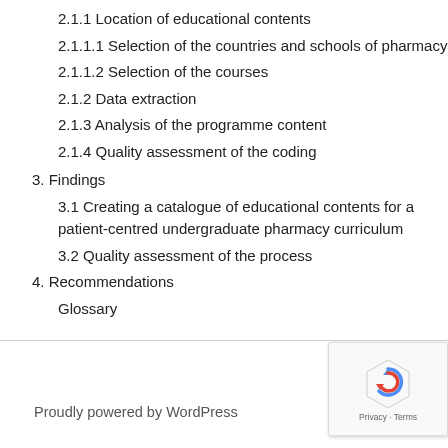2.1.1 Location of educational contents
2.1.1.1 Selection of the countries and schools of pharmacy
2.1.1.2 Selection of the courses
2.1.2 Data extraction
2.1.3 Analysis of the programme content
2.1.4 Quality assessment of the coding
3. Findings
3.1 Creating a catalogue of educational contents for a patient-centred undergraduate pharmacy curriculum
3.2 Quality assessment of the process
4. Recommendations
Glossary
Proudly powered by WordPress